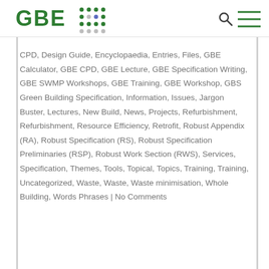GBE
CPD, Design Guide, Encyclopaedia, Entries, Files, GBE Calculator, GBE CPD, GBE Lecture, GBE Specification Writing, GBE SWMP Workshops, GBE Training, GBE Workshop, GBS Green Building Specification, Information, Issues, Jargon Buster, Lectures, New Build, News, Projects, Refurbishment, Refurbishment, Resource Efficiency, Retrofit, Robust Appendix (RA), Robust Specification (RS), Robust Specification Preliminaries (RSP), Robust Work Section (RWS), Services, Specification, Themes, Tools, Topical, Topics, Training, Training, Uncategorized, Waste, Waste, Waste minimisation, Whole Building, Words Phrases | No Comments